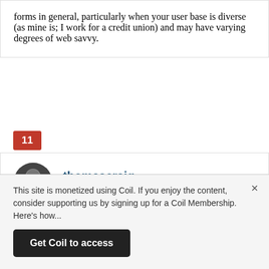forms in general, particularly when your user base is diverse (as mine is; I work for a credit union) and may have varying degrees of web savvy.
11
thomascraig
February 8, 2011 at 6:03 pm
Very nice post, I haven’t been fortunate enough to work on a kids site just yet, but definitely get enough exposure to others well crafted sites with two toddlers in the household. Would like to see more of the same interactivity but without the flash. Big colorful buttons help my
This site is monetized using Coil. If you enjoy the content, consider supporting us by signing up for a Coil Membership. Here’s how...
Get Coil to access